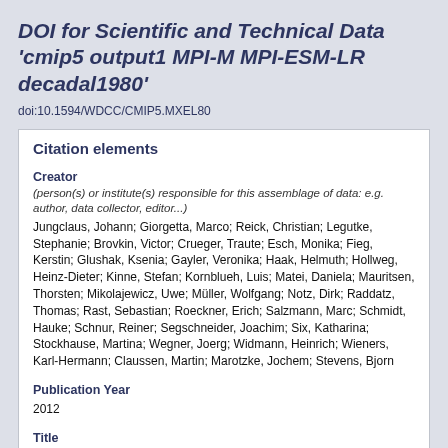DOI for Scientific and Technical Data 'cmip5 output1 MPI-M MPI-ESM-LR decadal1980'
doi:10.1594/WDCC/CMIP5.MXEL80
Citation elements
Creator
(person(s) or institute(s) responsible for this assemblage of data: e.g. author, data collector, editor...)
Jungclaus, Johann; Giorgetta, Marco; Reick, Christian; Legutke, Stephanie; Brovkin, Victor; Crueger, Traute; Esch, Monika; Fieg, Kerstin; Glushak, Ksenia; Gayler, Veronika; Haak, Helmuth; Hollweg, Heinz-Dieter; Kinne, Stefan; Kornblueh, Luis; Matei, Daniela; Mauritsen, Thorsten; Mikolajewicz, Uwe; Müller, Wolfgang; Notz, Dirk; Raddatz, Thomas; Rast, Sebastian; Roeckner, Erich; Salzmann, Marc; Schmidt, Hauke; Schnur, Reiner; Segschneider, Joachim; Six, Katharina; Stockhause, Martina; Wegner, Joerg; Widmann, Heinrich; Wieners, Karl-Hermann; Claussen, Martin; Marotzke, Jochem; Stevens, Bjorn
Publication Year
2012
Title
CMIP5 simulations of the Max Planck Institute for Meteorology (MPI-M) based on the MPI-ESM-LR model: The decadal1980 experiment, served by ESGF.